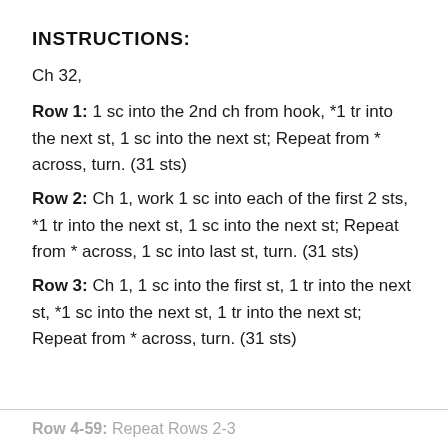INSTRUCTIONS:
Ch 32,
Row 1: 1 sc into the 2nd ch from hook, *1 tr into the next st, 1 sc into the next st; Repeat from * across, turn. (31 sts)
Row 2: Ch 1, work 1 sc into each of the first 2 sts, *1 tr into the next st, 1 sc into the next st; Repeat from * across, 1 sc into last st, turn. (31 sts)
Row 3: Ch 1, 1 sc into the first st, 1 tr into the next st, *1 sc into the next st, 1 tr into the next st; Repeat from * across, turn. (31 sts)
Row 4-59: Repeat Rows 2-3